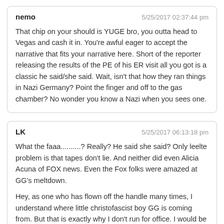nemo | 5/25/2017 02:37:44 pm
That chip on your should is YUGE bro, you outta head to Vegas and cash it in. You're awful eager to accept the narrative that fits your narrative here. Short of the reporter releasing the results of the PE of his ER visit all you got is a classic he said/she said. Wait, isn't that how they ran things in Nazi Germany? Point the finger and off to the gas chamber? No wonder you know a Nazi when you sees one.
LK | 5/25/2017 06:13:18 pm
What the faaa..........? Really? He said she said? Only leelte problem is that tapes don't lie. And neither did even Alicia Acuna of FOX news. Even the Fox folks were amazed at GG's meltdown.

Hey, as one who has flown off the handle many times, I understand where little christofascist boy GG is coming from. But that is exactly why I don't run for office. I would be punching the shit outta pukes on a daily basis. GG is too stupid to understand that he doesn't have the